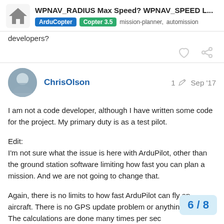WPNAV_RADIUS Max Speed? WPNAV_SPEED L... | ArduCopter | Copter 3.5 | mission-planner, automission
developers?
ChrisOlson  1  Sep '17
I am not a code developer, although I have written some code for the project. My primary duty is as a test pilot.

Edit:
I'm not sure what the issue is here with ArduPilot, other than the ground station software limiting how fast you can plan a mission. And we are not going to change that.

Again, there is no limits to how fast ArduPilot can fly an aircraft. There is no GPS update problem or anything like that. The calculations are done many times per second. The limitation is your aircraft and how stable it is in flight is the limitation of this mission...
6 / 8